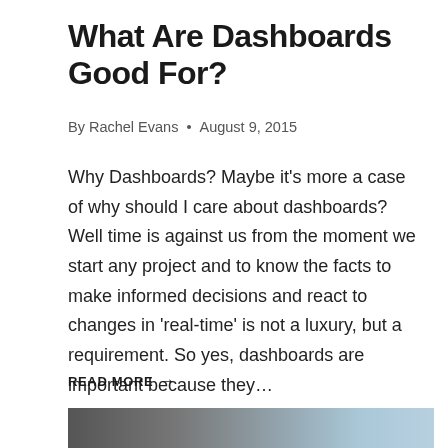What Are Dashboards Good For?
By Rachel Evans • August 9, 2015
Why Dashboards? Maybe it's more a case of why should I care about dashboards? Well time is against us from the moment we start any project and to know the facts to make informed decisions and react to changes in 'real-time' is not a luxury, but a requirement. So yes, dashboards are important because they…
READ MORE →
[Figure (photo): A dark/blurred photo of a device screen with a blue-toned background on the right side.]